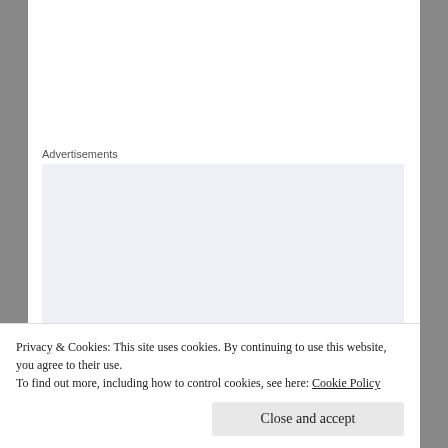Advertisements
[Figure (other): Advertisement banner with text: Build a writing habit. Post on the go.]
Privacy & Cookies: This site uses cookies. By continuing to use this website, you agree to their use.
To find out more, including how to control cookies, see here: Cookie Policy
Close and accept